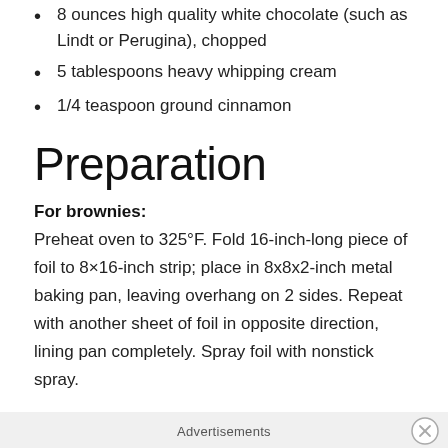8 ounces high quality white chocolate (such as Lindt or Perugina), chopped
5 tablespoons heavy whipping cream
1/4 teaspoon ground cinnamon
Preparation
For brownies:
Preheat oven to 325°F. Fold 16-inch-long piece of foil to 8×16-inch strip; place in 8x8x2-inch metal baking pan, leaving overhang on 2 sides. Repeat with another sheet of foil in opposite direction, lining pan completely. Spray foil with nonstick spray.
Stir butter and chocolate in heavy large saucepan over very low heat until chocolate is melted. Remove from
Advertisements